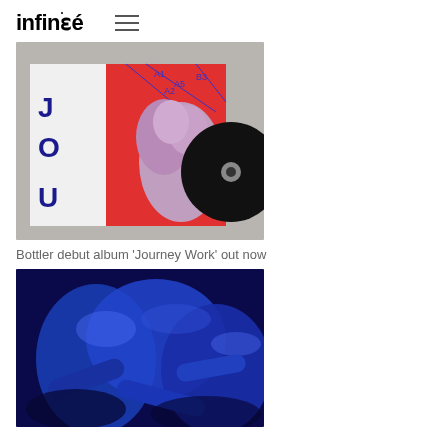infiné (hamburger menu)
[Figure (photo): Album artwork for Bottler 'Journey Work' — shows a sculpted figure on a red/white background with a vinyl record, geometric lines and labels A1, A2, A5, B3]
Bottler debut album 'Journey Work' out now
[Figure (photo): Blue metallic sculptural figures intertwined — promotional image for a music release]